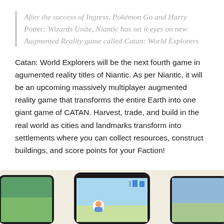After the success of Ingress, Pokémon Go and Harry Potter: Wizards Unite, Niantic has set it eyes on new Augmented Reality game called Catan: World Explorers
Catan: World Explorers will be the next fourth game in agumented reality titles of Niantic. As per Niantic, it will be an upcoming massively multiplayer augmented reality game that transforms the entire Earth into one giant game of CATAN. Harvest, trade, and build in the real world as cities and landmarks transform into settlements where you can collect resources, construct buildings, and score points for your Faction!
[Figure (photo): Three smartphones displayed at the bottom of the page showing a mobile game interface, partially cropped, on a warm beige background.]